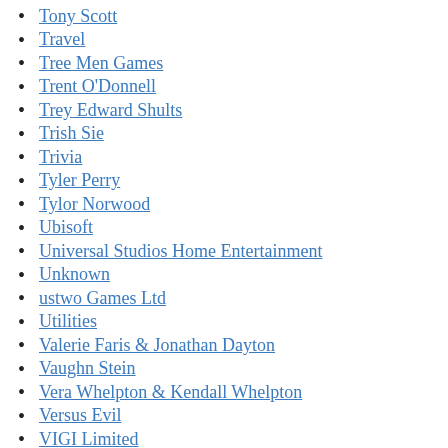Tony Scott
Travel
Tree Men Games
Trent O'Donnell
Trey Edward Shults
Trish Sie
Trivia
Tyler Perry
Tylor Norwood
Ubisoft
Universal Studios Home Entertainment
Unknown
ustwo Games Ltd
Utilities
Valerie Faris & Jonathan Dayton
Vaughn Stein
Vera Whelpton & Kendall Whelpton
Versus Evil
VIGI Limited